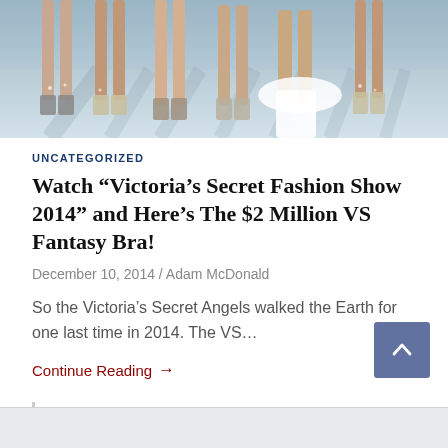[Figure (photo): Photo of models' legs on a runway, wearing high heels and sparkly boots, at what appears to be the Victoria's Secret Fashion Show. Image is cropped to show only the lower portion of the models.]
UNCATEGORIZED
Watch “Victoria’s Secret Fashion Show 2014” and Here’s The $2 Million VS Fantasy Bra!
December 10, 2014 / Adam McDonald
So the Victoria’s Secret Angels walked the Earth for one last time in 2014. The VS…
Continue Reading →
AD